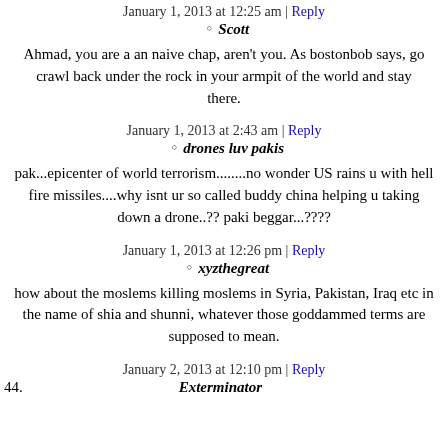January 1, 2013 at 12:25 am | Reply
Scott
Ahmad, you are a an naive chap, aren't you. As bostonbob says, go crawl back under the rock in your armpit of the world and stay there.
January 1, 2013 at 2:43 am | Reply
drones luv pakis
pak...epicenter of world terrorism........no wonder US rains u with hell fire missiles....why isnt ur so called buddy china helping u taking down a drone..?? paki beggar...????
January 1, 2013 at 12:26 pm | Reply
xyzthegreat
how about the moslems killing moslems in Syria, Pakistan, Iraq etc in the name of shia and shunni, whatever those goddammed terms are supposed to mean.
January 2, 2013 at 12:10 pm | Reply
44. Exterminator